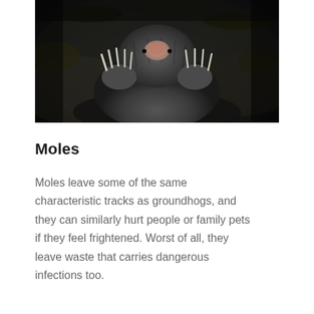[Figure (photo): Close-up photo of a mole emerging from dark soil, showing its claws and snout against dark earth.]
Moles
Moles leave some of the same characteristic tracks as groundhogs, and they can similarly hurt people or family pets if they feel frightened. Worst of all, they leave waste that carries dangerous infections too.